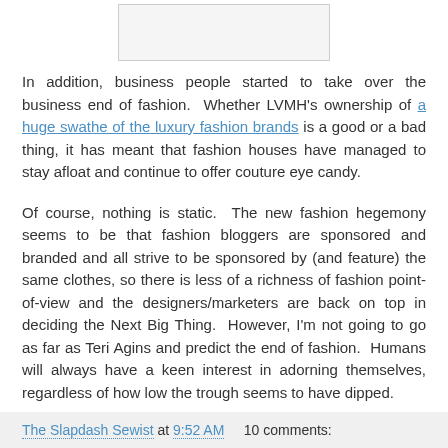[Figure (other): Image placeholder box at top of page]
In addition, business people started to take over the business end of fashion.  Whether LVMH's ownership of a huge swathe of the luxury fashion brands is a good or a bad thing, it has meant that fashion houses have managed to stay afloat and continue to offer couture eye candy.
Of course, nothing is static.  The new fashion hegemony seems to be that fashion bloggers are sponsored and branded and all strive to be sponsored by (and feature) the same clothes, so there is less of a richness of fashion point-of-view and the designers/marketers are back on top in deciding the Next Big Thing.  However, I'm not going to go as far as Teri Agins and predict the end of fashion.  Humans will always have a keen interest in adorning themselves, regardless of how low the trough seems to have dipped.
The Slapdash Sewist at 9:52 AM    10 comments: